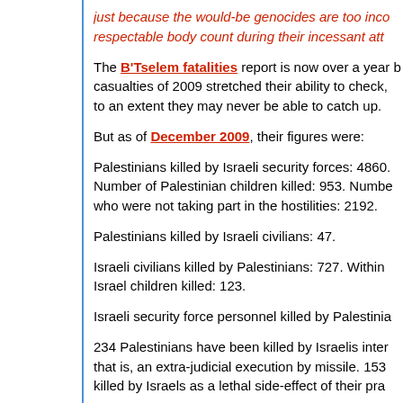just because the would-be genocides are too inc... respectable body count during their incessant att...
The B'Tselem fatalities report is now over a year b... casualties of 2009 stretched their ability to check, to an extent they may never be able to catch up.
But as of December 2009, their figures were:
Palestinians killed by Israeli security forces: 4860. Number of Palestinian children killed: 953. Numbe... who were not taking part in the hostilities: 2192.
Palestinians killed by Israeli civilians: 47.
Israeli civilians killed by Palestinians: 727. Within... Israel children killed: 123.
Israeli security force personnel killed by Palestinia...
234 Palestinians have been killed by Israelis inter... that is, an extra-judicial execution by missile. 153... killed by Israels as a lethal side-effect of their pra...
Israel's supporters do tend to talk of the "incessar...